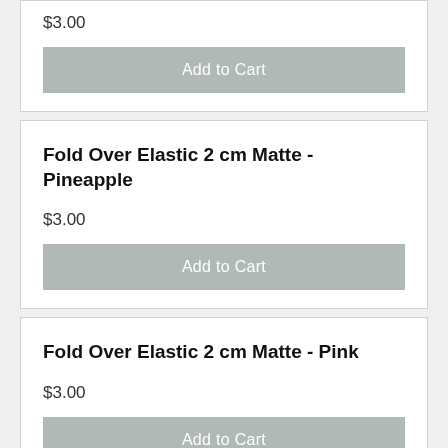$3.00
Add to Cart
Fold Over Elastic 2 cm Matte - Pineapple
$3.00
Add to Cart
Fold Over Elastic 2 cm Matte - Pink
$3.00
Add to Cart